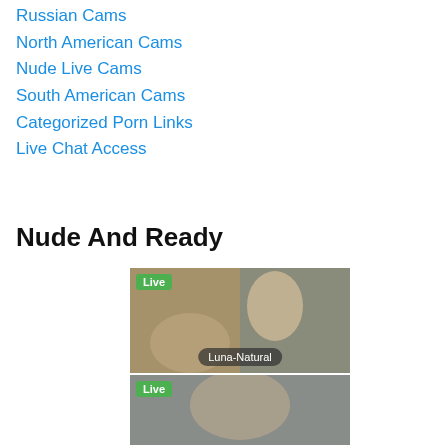Russian Cams
North American Cams
Nude Live Cams
South American Cams
Categorized Porn Links
Live Chat Access
Nude And Ready
[Figure (screenshot): Webcam thumbnail showing a live stream labeled Luna-Natural with a green Live badge]
[Figure (screenshot): Webcam thumbnail showing a live stream with a green Live badge, partial view]